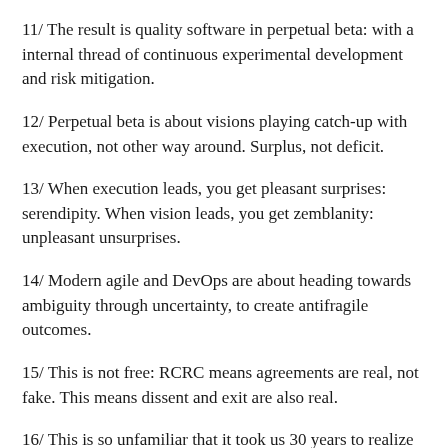11/ The result is quality software in perpetual beta: with a internal thread of continuous experimental development and risk mitigation.
12/ Perpetual beta is about visions playing catch-up with execution, not other way around. Surplus, not deficit.
13/ When execution leads, you get pleasant surprises: serendipity. When vision leads, you get zemblanity: unpleasant unsurprises.
14/ Modern agile and DevOps are about heading towards ambiguity through uncertainty, to create antifragile outcomes.
15/ This is not free: RCRC means agreements are real, not fake. This means dissent and exit are also real.
16/ This is so unfamiliar that it took us 30 years to realize that